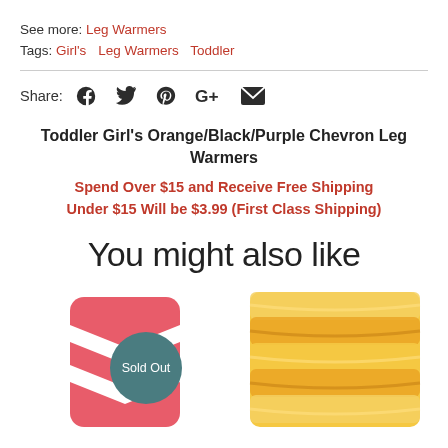See more: Leg Warmers
Tags: Girl's  Leg Warmers  Toddler
Share: [Facebook] [Twitter] [Pinterest] [Google+] [Email]
Toddler Girl's Orange/Black/Purple Chevron Leg Warmers
Spend Over $15 and Receive Free Shipping Under $15 Will be $3.99 (First Class Shipping)
You might also like
[Figure (photo): Red and white chevron leg warmers with Sold Out badge overlay]
[Figure (photo): Yellow and orange ruffled leg warmers]